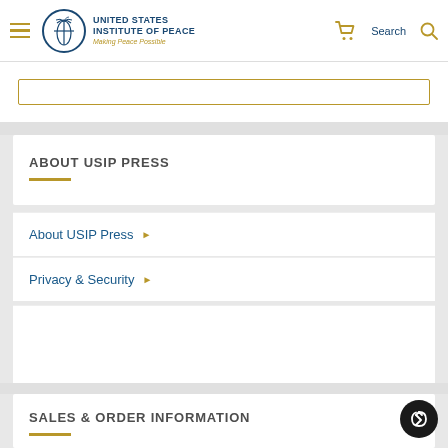United States Institute of Peace — Making Peace Possible
ABOUT USIP PRESS
About USIP Press
Privacy & Security
SALES & ORDER INFORMATION